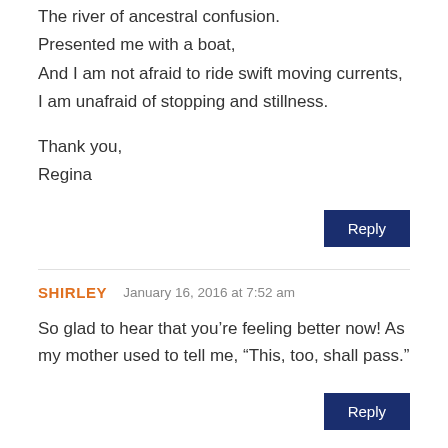The river of ancestral confusion.
Presented me with a boat,
And I am not afraid to ride swift moving currents,
I am unafraid of stopping and stillness.

Thank you,
Regina
Reply
SHIRLEY   January 16, 2016 at 7:52 am
So glad to hear that you’re feeling better now! As my mother used to tell me, “This, too, shall pass.”
Reply